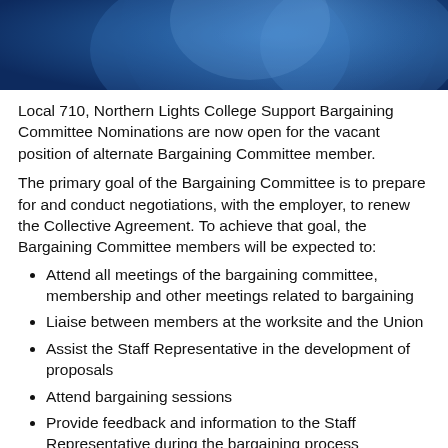[Figure (photo): Blue abstract background image with circular design elements, serving as a decorative header banner.]
Local 710, Northern Lights College Support Bargaining Committee Nominations are now open for the vacant position of alternate Bargaining Committee member.
The primary goal of the Bargaining Committee is to prepare for and conduct negotiations, with the employer, to renew the Collective Agreement. To achieve that goal, the Bargaining Committee members will be expected to:
Attend all meetings of the bargaining committee, membership and other meetings related to bargaining
Liaise between members at the worksite and the Union
Assist the Staff Representative in the development of proposals
Attend bargaining sessions
Provide feedback and information to the Staff Representative during the bargaining process
Participate in discussions related to the Employer's proposals, and assist in developing responses